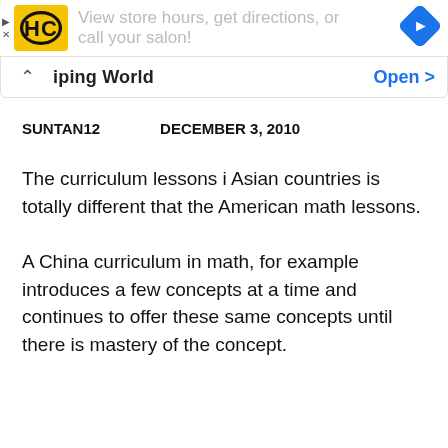[Figure (other): HC (Hair Club) advertisement banner with yellow logo, navigation arrows, and blue direction arrow icon. Text reads: 'View store hours, get directions, or call your salon!']
[Figure (other): Map/store info bar showing store name 'iping World' (partially visible) with chevron up icon on left and 'Open >' link in blue on right]
SUNTAN12   DECEMBER 3, 2010
The curriculum lessons i Asian countries is totally different that the American math lessons.
A China curriculum in math, for example introduces a few concepts at a time and continues to offer these same concepts until there is mastery of the concept.